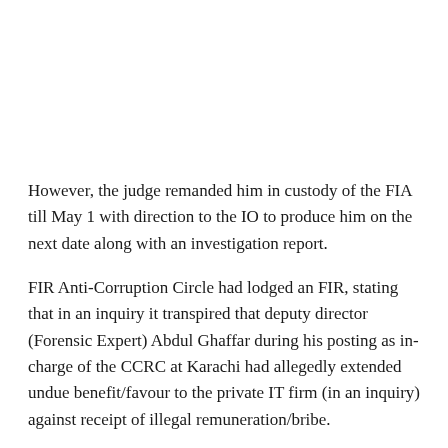However, the judge remanded him in custody of the FIA till May 1 with direction to the IO to produce him on the next date along with an investigation report.
FIR Anti-Corruption Circle had lodged an FIR, stating that in an inquiry it transpired that deputy director (Forensic Expert) Abdul Ghaffar during his posting as in-charge of the CCRC at Karachi had allegedly extended undue benefit/favour to the private IT firm (in an inquiry) against receipt of illegal remuneration/bribe.
The officials of the firm also had...